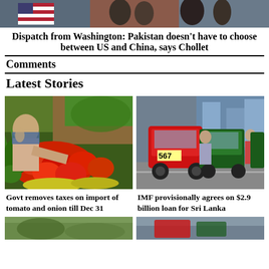[Figure (photo): Top banner image showing flags, likely US and Pakistani flags in Washington]
Dispatch from Washington: Pakistan doesn't have to choose between US and China, says Chollet
Comments
Latest Stories
[Figure (photo): A vendor selling vegetables including tomatoes, okra, and other produce at a market stall]
[Figure (photo): People pushing auto-rickshaws in a queue, numbered 567, in Sri Lanka]
Govt removes taxes on import of tomato and onion till Dec 31
IMF provisionally agrees on $2.9 billion loan for Sri Lanka
[Figure (photo): Bottom strip partial image on the left]
[Figure (photo): Bottom strip partial image on the right]